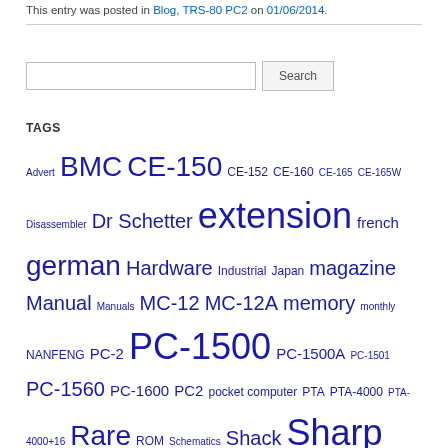This entry was posted in Blog, TRS-80 PC2 on 01/06/2014.
Search
TAGS
Advert BMC CE-150 CE-152 CE-160 CE-165 CE-165W Disassembler Dr Schetter extension french german Hardware Industrial Japan magazine Manual Manuals MC-12 MC-12A memory monthly NANFENG PC-2 PC-1500 PC-1500A PC-1501 PC-1560 PC-1600 PC2 pocket computer PTA PTA-4000 PTA-4000+16 Rare ROM Schematics Shack Sharp Software Tandy tape tools user club Version